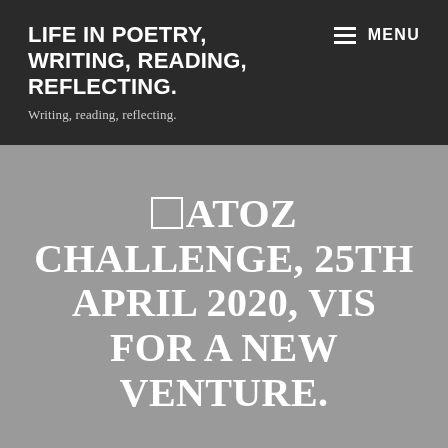LIFE IN POETRY, WRITING, READING, REFLECTING.
Writing, reading, reflecting.
ATOZ CHALLENGE, 25TH APRIL 2020, VIS FOR A NEW VENTURE.